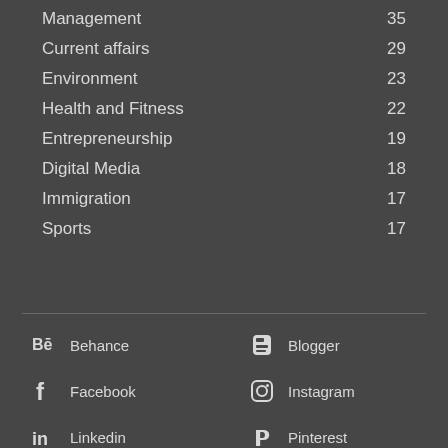Management 35
Current affairs 29
Environment 23
Health and Fitness 22
Entrepreneurship 19
Digital Media 18
Immigration 17
Sports 17
Behance
Blogger
Facebook
Instagram
Linkedin
Pinterest
Reddit
Twitter